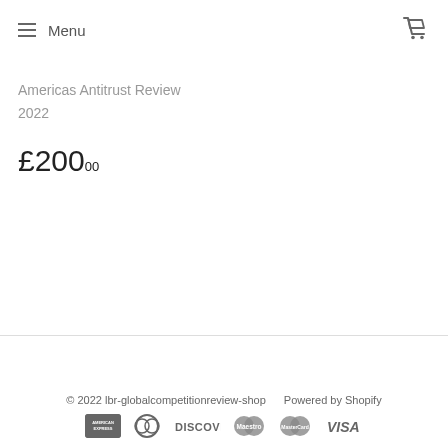Menu
Americas Antitrust Review
2022
£200.00
© 2022 lbr-globalcompetitionreview-shop    Powered by Shopify